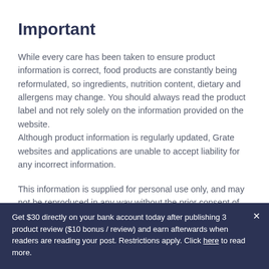Important
While every care has been taken to ensure product information is correct, food products are constantly being reformulated, so ingredients, nutrition content, dietary and allergens may change. You should always read the product label and not rely solely on the information provided on the website. Although product information is regularly updated, Grate websites and applications are unable to accept liability for any incorrect information.
This information is supplied for personal use only, and may not be reproduced in any way without the prior consent of
Get $30 directly on your bank account today after publishing 3 product review ($10 bonus / review) and earn afterwards when readers are reading your post. Restrictions apply. Click here to read more.